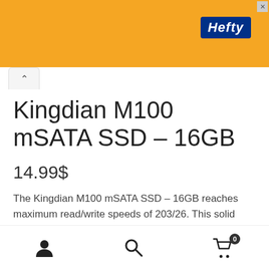[Figure (photo): Orange Hefty advertisement banner with logo]
Kingdian M100 mSATA SSD – 16GB
14.99$
The Kingdian M100 mSATA SSD – 16GB reaches maximum read/write speeds of 203/26. This solid state drive delivers all the advantages of flash disk technology with SATA II
[Figure (infographic): Bottom navigation bar with user icon, search icon, and cart icon with badge showing 0]